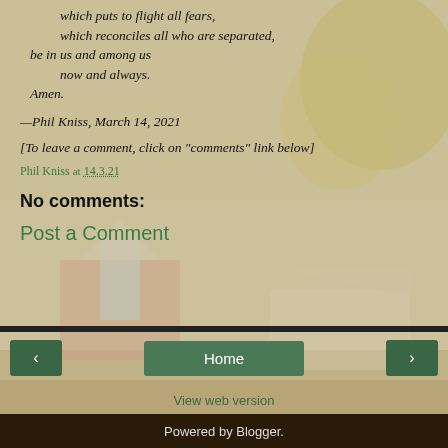which puts to flight all fears, which reconciles all who are separated, be in us and among us now and always. Amen.
—Phil Kniss, March 14, 2021
[To leave a comment, click on "comments" link below]
Phil Kniss at 14.3.21
No comments:
Post a Comment
‹  Home  ›  View web version  Powered by Blogger.